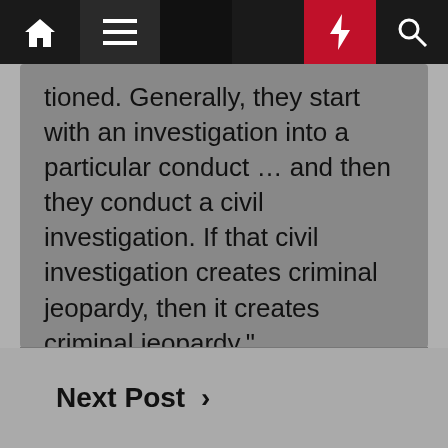Navigation bar with home, menu, search, moon, bolt, and search icons
tioned. Generally, they start with an investigation into a particular conduct … and then they conduct a civil investigation. If that civil investigation creates criminal jeopardy, then it creates criminal jeopardy."
It was a busy day in court for Trump and his business.
Earlier in the day, a lower-court judge ordered that Trump must cut a $110,000 check to James' office to end the contempt-of-court order that was charging $10,000 a day in penalties for the former president's failure to comply with James' subpoenas for his documents.
Next Post ›